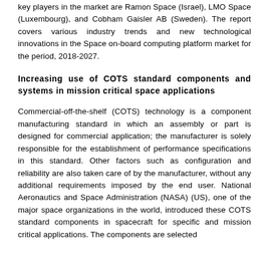key players in the market are Ramon Space (Israel), LMO Space (Luxembourg), and Cobham Gaisler AB (Sweden). The report covers various industry trends and new technological innovations in the Space on-board computing platform market for the period, 2018-2027.
Increasing use of COTS standard components and systems in mission critical space applications
Commercial-off-the-shelf (COTS) technology is a component manufacturing standard in which an assembly or part is designed for commercial application; the manufacturer is solely responsible for the establishment of performance specifications in this standard. Other factors such as configuration and reliability are also taken care of by the manufacturer, without any additional requirements imposed by the end user. National Aeronautics and Space Administration (NASA) (US), one of the major space organizations in the world, introduced these COTS standard components in spacecraft for specific and mission critical applications. The components are selected